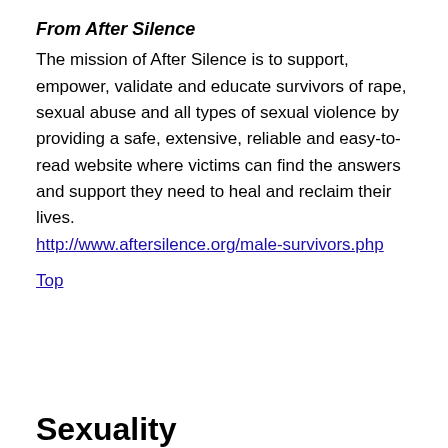From After Silence
The mission of After Silence is to support, empower, validate and educate survivors of rape, sexual abuse and all types of sexual violence by providing a safe, extensive, reliable and easy-to-read website where victims can find the answers and support they need to heal and reclaim their lives. http://www.aftersilence.org/male-survivors.php
Top
Sexuality